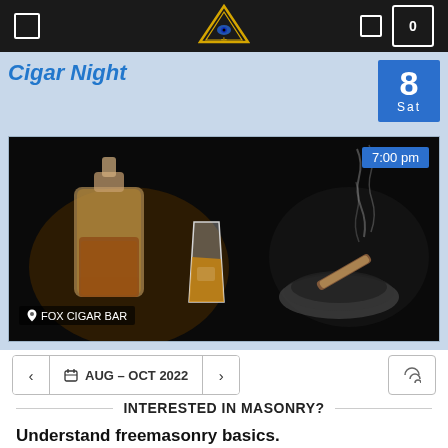Navigation bar with logo, menu icon, search icon, and cart (0)
Cigar Night
8 Sat
[Figure (photo): Photo of whiskey decanter, glass of whiskey, and ashtray with a lit cigar on a dark background. Time badge shows 7:00 pm. Location badge shows FOX CIGAR BAR.]
AUG – OCT 2022
INTERESTED IN MASONRY?
Understand freemasonry basics.